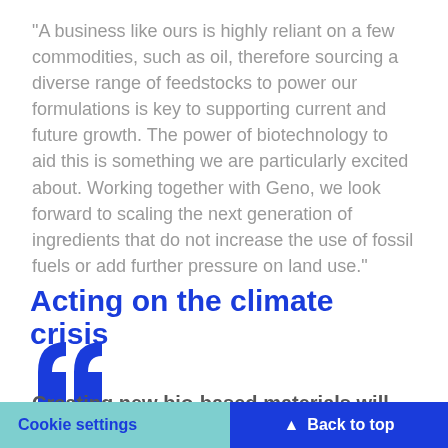“A business like ours is highly reliant on a few commodities, such as oil, therefore sourcing a diverse range of feedstocks to power our formulations is key to supporting current and future growth. The power of biotechnology to aid this is something we are particularly excited about. Working together with Geno, we look forward to scaling the next generation of ingredients that do not increase the use of fossil fuels or add further pressure on land use.”
Acting on the climate crisis
[Figure (illustration): Large blue decorative opening quotation marks icon]
Creating new bio-based materials will help make the planet posi... products of the...
Cookie settings | Back to top